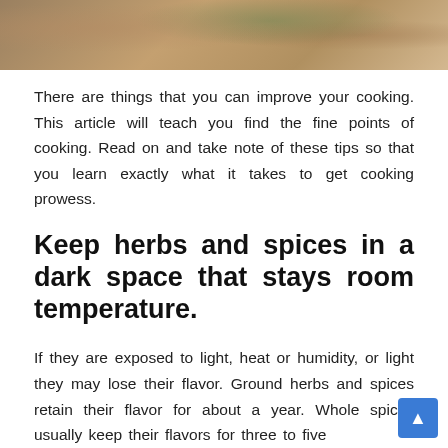[Figure (photo): Photo of people cooking or dining at a table with food and plants visible]
There are things that you can improve your cooking. This article will teach you find the fine points of cooking. Read on and take note of these tips so that you learn exactly what it takes to get cooking prowess.
Keep herbs and spices in a dark space that stays room temperature.
If they are exposed to light, heat or humidity, or light they may lose their flavor. Ground herbs and spices retain their flavor for about a year. Whole spices usually keep their flavors for three to five